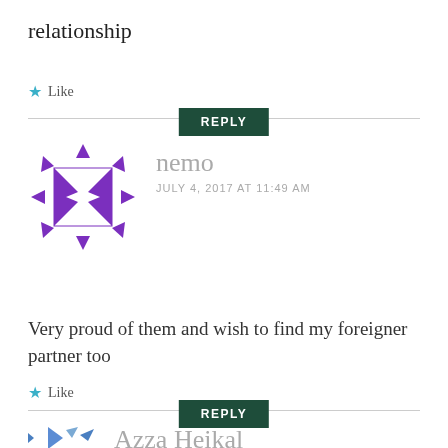relationship
★ Like
REPLY
[Figure (illustration): Purple geometric quilt-pattern avatar icon in a circle for user 'nemo']
nemo
JULY 4, 2017 AT 11:49 AM
Very proud of them and wish to find my foreigner partner too
★ Like
REPLY
[Figure (illustration): Blue geometric pinwheel avatar icon for user 'Azza Heikal']
Azza Heikal